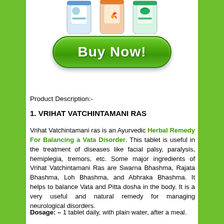[Figure (photo): Three Ayurvedic product bottles/containers shown from above, partially cropped at top of page]
[Figure (other): Green 'Buy Now!' button with glossy rounded rectangle style]
Product Description:-
1. VRIHAT VATCHINTAMANI RAS
Vrihat Vatchintamani ras is an Ayurvedic Herbal Remedy For Balancing a Vata Disorder. This tablet is useful in the treatment of diseases like facial palsy, paralysis, hemiplegia, tremors, etc. Some major ingredients of Vrihat Vatchintamani Ras are Swarna Bhashma, Rajata Bhashma, Loh Bhashma, and Abhraka Bhashma. It helps to balance Vata and Pitta dosha in the body. It is a very useful and natural remedy for managing neurological disorders.
Dosage: – 1 tablet daily, with plain water, after a meal.